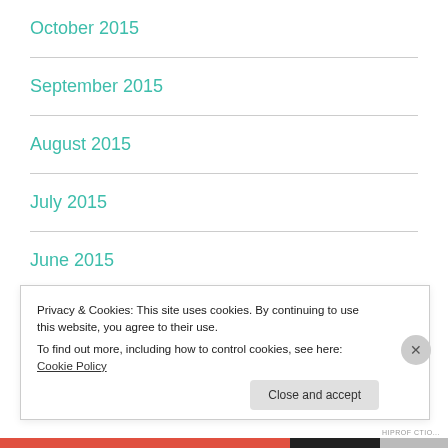October 2015
September 2015
August 2015
July 2015
June 2015
May 2015
Privacy & Cookies: This site uses cookies. By continuing to use this website, you agree to their use.
To find out more, including how to control cookies, see here: Cookie Policy
Close and accept